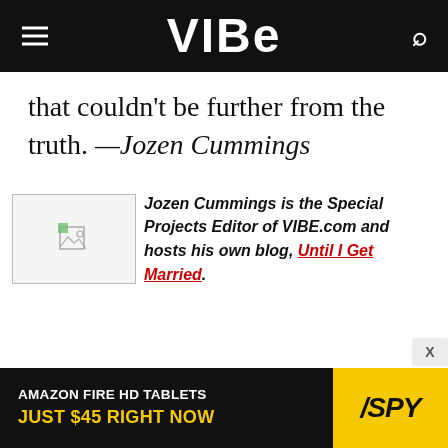VIBE
that couldn't be further from the truth. —Jozen Cummings
[Figure (photo): Broken image placeholder for author photo]
Jozen Cummings is the Special Projects Editor of VIBE.com and hosts his own blog, Until I Get Married.
[Figure (other): Advertisement: Amazon Fire HD Tablets Just $45 Right Now — SPY]